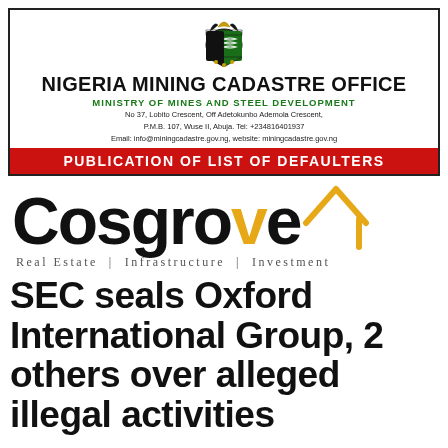[Figure (logo): Nigeria coat of arms emblem]
NIGERIA MINING CADASTRE OFFICE
MINISTRY OF MINES AND STEEL DEVELOPMENT
No 37, Lobito Crescent, Off Adetokunbo Ademola Crescent, P.M.B. 107, Wuse II, Abuja. Tel: +234816401937
Email: info@miningcadastre.gov.ng, website: miningcadastre.gov.ng
PUBLICATION OF LIST OF DEFAULTERS
[Figure (logo): Cosgrove logo — stylized wordmark with house icon. Text reads 'Cosgrove' with 've' in gold/yellow, and a gold house outline icon to the right. Below: 'Real Estate | Infrastructure | Investment']
SEC seals Oxford International Group, 2 others over alleged illegal activities